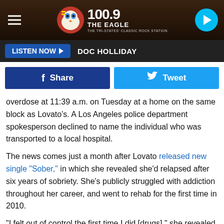[Figure (screenshot): 100.9 The Eagle radio station header logo with eagle mascot on dark wood-texture background, hamburger menu icon on left, play button on right]
LISTEN NOW ▶  DOC HOLLIDAY
[Figure (other): Facebook Share button (dark blue) and Twitter Tweet button (light blue)]
overdose at 11:39 a.m. on Tuesday at a home on the same block as Lovato's. A Los Angeles police department spokesperson declined to name the individual who was transported to a local hospital.
The news comes just a month after Lovato released new single "Sober," in which she revealed she'd relapsed after six years of sobriety. She's publicly struggled with addiction throughout her career, and went to rehab for the first time in 2010.
"I felt out of control the first time I did [drugs]," she revealed